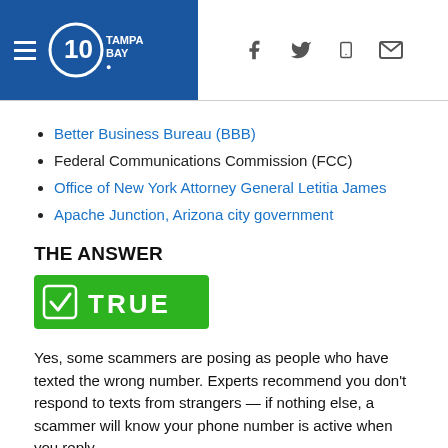10 Tampa Bay
Better Business Bureau (BBB)
Federal Communications Commission (FCC)
Office of New York Attorney General Letitia James
Apache Junction, Arizona city government
THE ANSWER
[Figure (infographic): Green TRUE badge with checkmark in a box]
Yes, some scammers are posing as people who have texted the wrong number. Experts recommend you don’t respond to texts from strangers — if nothing else, a scammer will know your phone number is active when you reply.